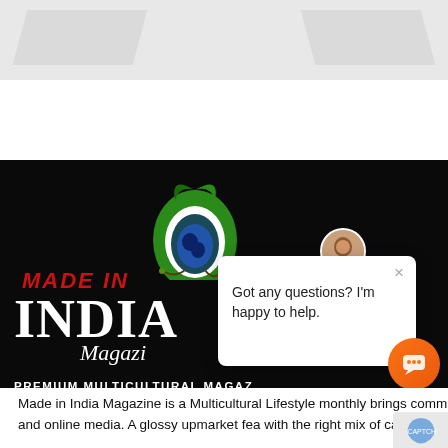[Figure (screenshot): Top navigation bar of a website with gray/white background and diagonal decorative shapes]
[Figure (logo): Made in India Magazine logo: peacock feather icon in green and blue on black background, with MADE IN in red italic above INDIA in large white serif font, Magazine in white italic script below, and PREMIUM MULTICULTURAL MAGAZINE tagline]
[Figure (screenshot): Chat assistant popup with avatar photo, close button X, and message: Got any questions? I'm happy to help.]
[Figure (screenshot): Orange circular chat button in bottom right corner]
Made in India Magazine is a Multicultural Lifestyle monthly brings communities, cultures and democracies together by of integrated print and online media. A glossy upmarket fea with the right mix of captivating multicultural content reaching the